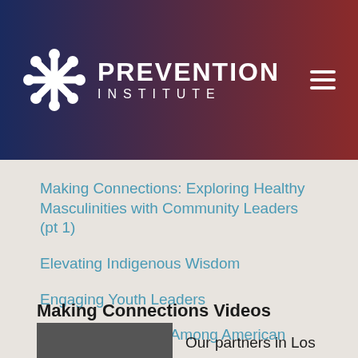[Figure (logo): Prevention Institute logo with white snowflake icon and text PREVENTION INSTITUTE on dark blue-to-red gradient header background]
Making Connections: Exploring Healthy Masculinities with Community Leaders (pt 1)
Elevating Indigenous Wisdom
Engaging Youth Leaders
Preventing Suicide Among American Indian Youth
Military Cultural Competence
Preventing and Addressing Community Trauma
Making Connections Videos
Our partners in Los